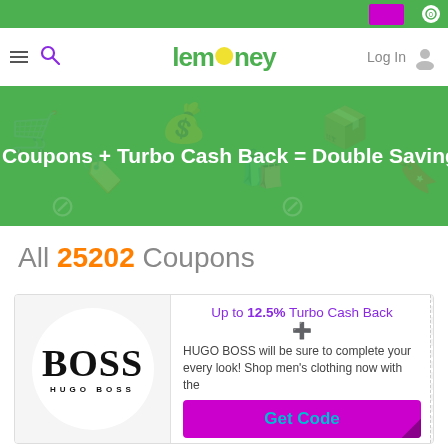[Figure (screenshot): Top navigation bar of Lemoney website with green header bar, hamburger menu, search icon, Lemoney logo, Log In link, and a purple button]
[Figure (infographic): Green banner with text: Coupons + Turbo Cash Back = Double Savings and faint shopping icons in background]
All 25202 Coupons
[Figure (logo): Hugo Boss logo in circular white area on gray background]
Up to 12.5% Turbo Cash Back
HUGO BOSS will be sure to complete your every look! Shop men's clothing now with the
Get Code
971 clicks